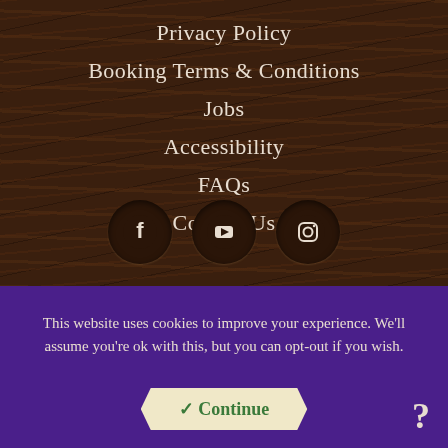Privacy Policy
Booking Terms & Conditions
Jobs
Accessibility
FAQs
Contact Us
[Figure (illustration): Three social media icons in dark circular buttons: Facebook, YouTube, and Instagram]
This website uses cookies to improve your experience. We'll assume you're ok with this, but you can opt-out if you wish.
✓ Continue